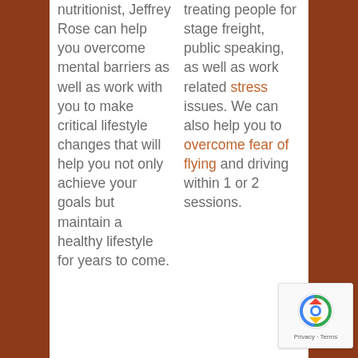nutritionist, Jeffrey Rose can help you overcome mental barriers as well as work with you to make critical lifestyle changes that will help you not only achieve your goals but maintain a healthy lifestyle for years to come.
treating people for stage freight, public speaking, as well as work related stress issues. We can also help you to overcome fear of flying and driving within 1 or 2 sessions.